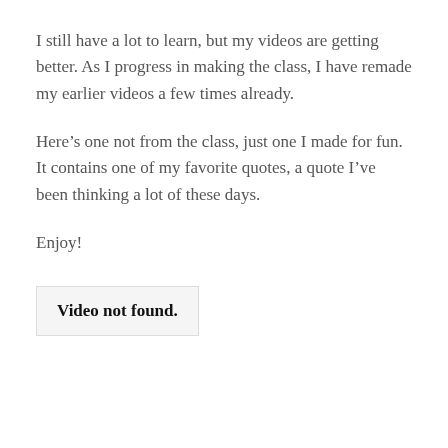I still have a lot to learn, but my videos are getting better. As I progress in making the class, I have remade my earlier videos a few times already.
Here’s one not from the class, just one I made for fun. It contains one of my favorite quotes, a quote I’ve been thinking a lot of these days.
Enjoy!
Video not found.